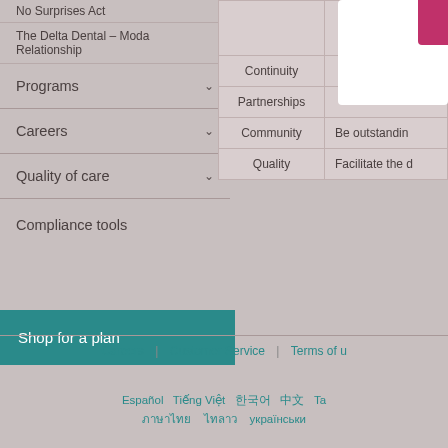No Surprises Act
The Delta Dental – Moda Relationship
Programs
Careers
Quality of care
Compliance tools
|  |  |
| --- | --- |
| Continuity |  |
| Partnerships |  |
| Community | Be outstandin… |
| Quality | Facilitate the d… |
Shop for a plan
Careers | Customer Service | Terms of U… | Español Tiếng Việt 한국어 中文 Ta… | ภาษาไทย | українськи